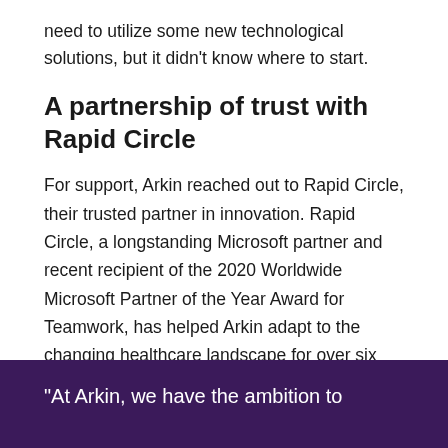need to utilize some new technological solutions, but it didn't know where to start.
A partnership of trust with Rapid Circle
For support, Arkin reached out to Rapid Circle, their trusted partner in innovation. Rapid Circle, a longstanding Microsoft partner and recent recipient of the 2020 Worldwide Microsoft Partner of the Year Award for Teamwork, has helped Arkin adapt to the changing healthcare landscape for over six years. With its deep expertise in configuring and deploying Microsoft technology, Rapid Circle was an ideal partner to help Arkin through this newest transition to remote counseling.
“At Arkin, we have the ambition to